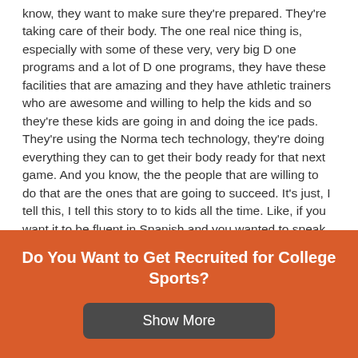know, they want to make sure they're prepared. They're taking care of their body. The one real nice thing is, especially with some of these very, very big D one programs and a lot of D one programs, they have these facilities that are amazing and they have athletic trainers who are awesome and willing to help the kids and so they're these kids are going in and doing the ice pads. They're using the Norma tech technology, they're doing everything they can to get their body ready for that next game. And you know, the the people that are willing to do that are the ones that are going to succeed. It's just, I tell this, I tell this story to to kids all the time. Like, if you want it to be fluent in Spanish and you wanted to speak Spanish, right? If you just went to Spanish class, you might learn a
Do You Want to Get Recruited for College Sports?
Show More